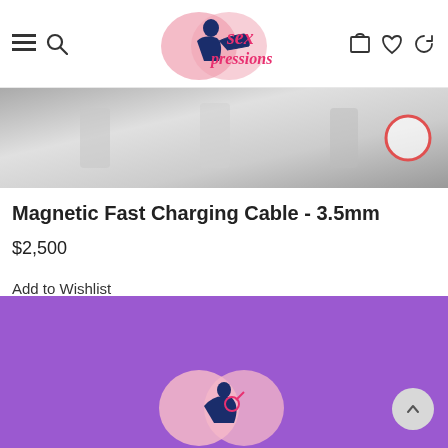Sexpressions store header with navigation icons
[Figure (photo): Product image strip showing a Magnetic Fast Charging Cable 3.5mm with metallic/silver background and a red circle indicator on the right]
Magnetic Fast Charging Cable - 3.5mm
$2,500
Add to Wishlist
[Figure (illustration): Purple banner section with the Sexpressions logo illustration at the bottom center]